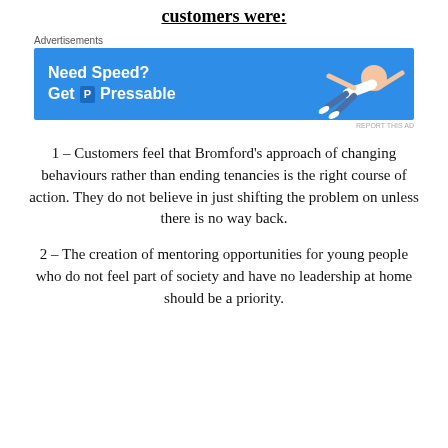customers were:
[Figure (other): Advertisement banner for Pressable hosting: 'Need Speed? Get Pressable' with a person flying/diving on a blue background.]
1 – Customers feel that Bromford's approach of changing behaviours rather than ending tenancies is the right course of action. They do not believe in just shifting the problem on unless there is no way back.
2 – The creation of mentoring opportunities for young people who do not feel part of society and have no leadership at home should be a priority.